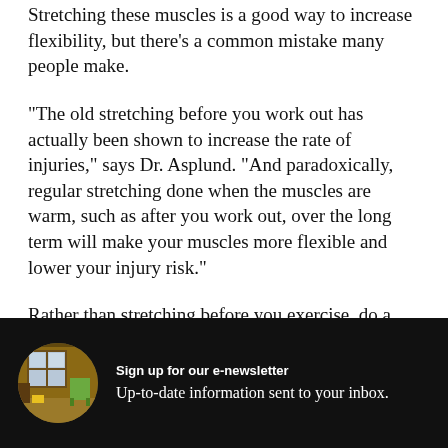Stretching these muscles is a good way to increase flexibility, but there’s a common mistake many people make.
“The old stretching before you work out has actually been shown to increase the rate of injuries,” says Dr. Asplund. “And paradoxically, regular stretching done when the muscles are warm, such as after you work out, over the long term will make your muscles more flexible and lower your injury risk.”
Rather than stretching before you exercise, do a dynamic warmup instead, such as running in place,
Sign up for our e-newsletter
Up-to-date information sent to your inbox.